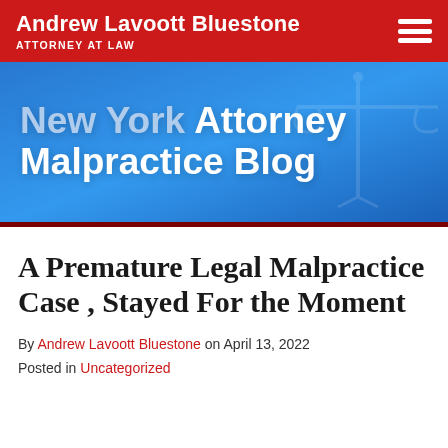Andrew Lavoott Bluestone ATTORNEY AT LAW
[Figure (logo): Blue banner with 'New York Attorney Malpractice Blog' title text on a blue gradient background with decorative scales of justice watermark]
A Premature Legal Malpractice Case , Stayed For the Moment
By Andrew Lavoott Bluestone on April 13, 2022
Posted in Uncategorized